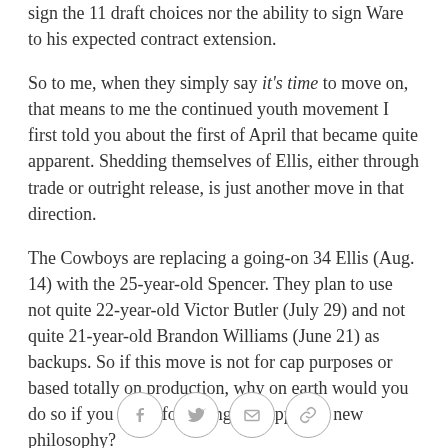sign the 11 draft choices nor the ability to sign Ware to his expected contract extension.
So to me, when they simply say it's time to move on, that means to me the continued youth movement I first told you about the first of April that became quite apparent. Shedding themselves of Ellis, either through trade or outright release, is just another move in that direction.
The Cowboys are replacing a going-on 34 Ellis (Aug. 14) with the 25-year-old Spencer. They plan to use not quite 22-year-old Victor Butler (July 29) and not quite 21-year-old Brandon Williams (June 21) as backups. So if this move is not for cap purposes or based totally on production, why on earth would you do so if you aren't following this apparent new philosophy?
[Figure (infographic): Social media sharing icons: Facebook, Twitter, Email, Link]